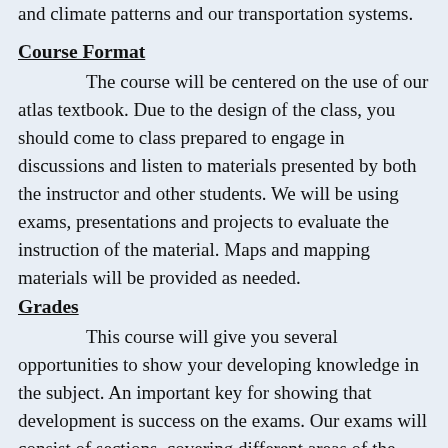and climate patterns and our transportation systems.
Course Format
The course will be centered on the use of our atlas textbook. Due to the design of the class, you should come to class prepared to engage in discussions and listen to materials presented by both the instructor and other students. We will be using exams, presentations and projects to evaluate the instruction of the material. Maps and mapping materials will be provided as needed.
Grades
This course will give you several opportunities to show your developing knowledge in the subject. An important key for showing that development is success on the exams. Our exams will consist of sections, covering different areas of the discipline. This course will have a variety of activities to further